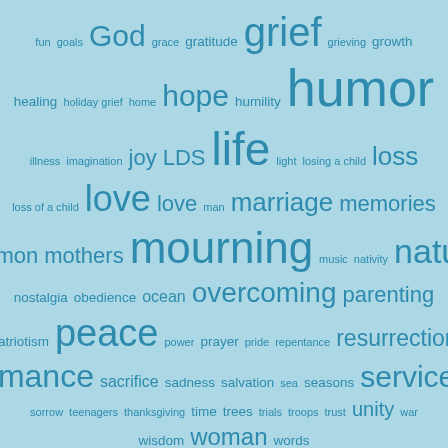[Figure (infographic): Word cloud with various words in different sizes on a light blue background. Words include: fun, goals, God, grace, gratitude, grief, grieving, growth, healing, holiday grief, home, hope, humility, humor, illness, imagination, joy, LDS, life, light, losing a child, loss, loss of a child, love, love, man, marriage, memories, Mormon, mothers, mourning, music, nativity, nature, nostalgia, obedience, ocean, overcoming, parenting, patriotism, peace, power, prayer, pride, repentance, resurrection, romance, sacrifice, sadness, salvation, sea, seasons, service, sin, sorrow, teenagers, thanksgiving, time, trees, trials, troops, trust, unity, war, wisdom, woman, words]